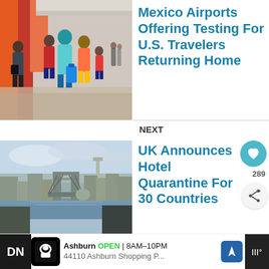[Figure (photo): Travelers walking through an airport with luggage, orange and red background walls]
Mexico Airports Offering Testing For U.S. Travelers Returning Home
[Figure (photo): Aerial view of London showing Tower Bridge and the River Thames]
NEXT
UK Announces Hotel Quarantine For 30 Countries
289
[Figure (photo): What's Next thumbnail - city skyline with planes]
WHAT'S NEXT → U.S. Looks To Domestic...
19 COMMENTS
Ashburn OPEN 8AM–10PM 44110 Ashburn Shopping P...